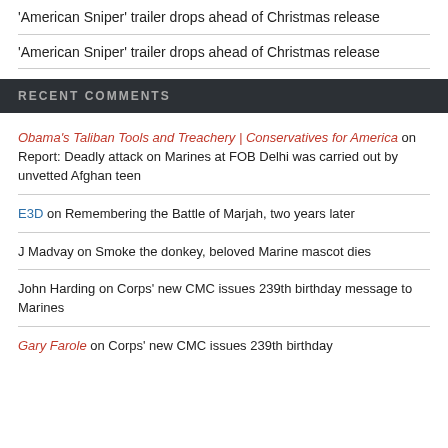'American Sniper' trailer drops ahead of Christmas release
'American Sniper' trailer drops ahead of Christmas release
RECENT COMMENTS
Obama's Taliban Tools and Treachery | Conservatives for America on Report: Deadly attack on Marines at FOB Delhi was carried out by unvetted Afghan teen
E3D on Remembering the Battle of Marjah, two years later
J Madvay on Smoke the donkey, beloved Marine mascot dies
John Harding on Corps' new CMC issues 239th birthday message to Marines
Gary Farole on Corps' new CMC issues 239th birthday